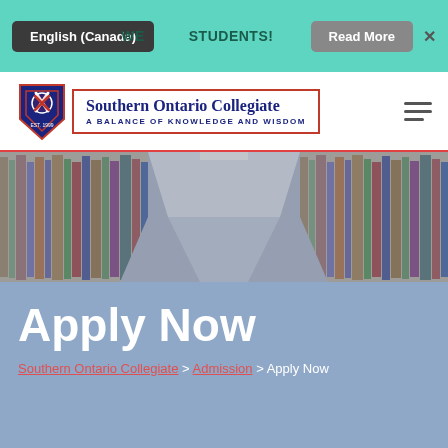English (Canada)  WE...STUDENTS!  Read More  X
[Figure (logo): Southern Ontario Collegiate shield logo with text: Southern Ontario Collegiate - A BALANCE OF KNOWLEDGE AND WISDOM]
[Figure (photo): Library bookshelf aisle perspective photo]
Apply Now
Southern Ontario Collegiate > Admission > Apply Now